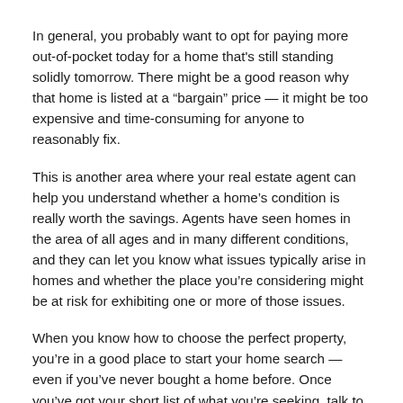In general, you probably want to opt for paying more out-of-pocket today for a home that's still standing solidly tomorrow. There might be a good reason why that home is listed at a “bargain” price — it might be too expensive and time-consuming for anyone to reasonably fix.
This is another area where your real estate agent can help you understand whether a home’s condition is really worth the savings. Agents have seen homes in the area of all ages and in many different conditions, and they can let you know what issues typically arise in homes and whether the place you’re considering might be at risk for exhibiting one or more of those issues.
When you know how to choose the perfect property, you’re in a good place to start your home search — even if you’ve never bought a home before. Once you’ve got your short list of what you’re seeking, talk to a real estate professional so you can take the next step toward your homeownership dream.